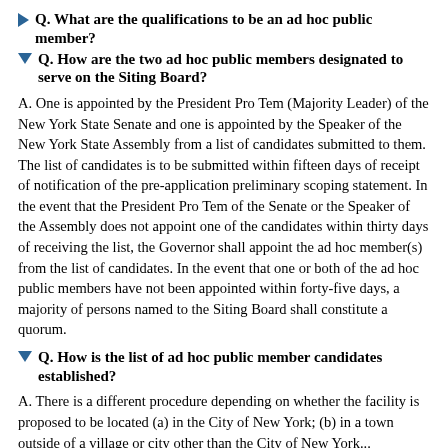Q. What are the qualifications to be an ad hoc public member?
Q. How are the two ad hoc public members designated to serve on the Siting Board?
A. One is appointed by the President Pro Tem (Majority Leader) of the New York State Senate and one is appointed by the Speaker of the New York State Assembly from a list of candidates submitted to them. The list of candidates is to be submitted within fifteen days of receipt of notification of the pre-application preliminary scoping statement. In the event that the President Pro Tem of the Senate or the Speaker of the Assembly does not appoint one of the candidates within thirty days of receiving the list, the Governor shall appoint the ad hoc member(s) from the list of candidates. In the event that one or both of the ad hoc public members have not been appointed within forty-five days, a majority of persons named to the Siting Board shall constitute a quorum.
Q. How is the list of ad hoc public member candidates established?
A. There is a different procedure depending on whether the facility is proposed to be located (a) in the City of New York; (b) in a town outside of a village or city other than the City of New York...